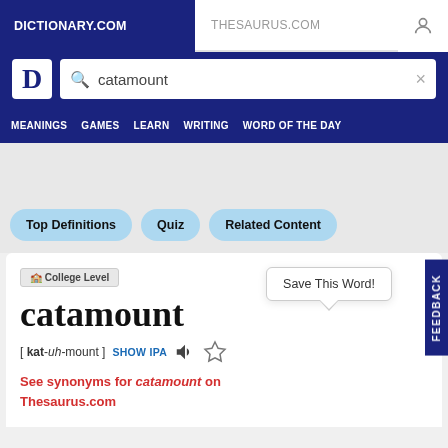DICTIONARY.COM  THESAURUS.COM
[Figure (screenshot): Dictionary.com website header with logo and search bar showing 'catamount']
MEANINGS  GAMES  LEARN  WRITING  WORD OF THE DAY
Top Definitions
Quiz
Related Content
🏫 College Level
Save This Word!
catamount
[ kat-uh-mount ]  SHOW IPA
See synonyms for catamount on Thesaurus.com